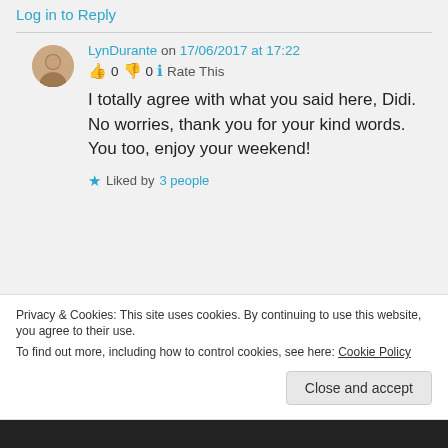Log in to Reply
LynDurante on 17/06/2017 at 17:22
👍 0 👎 0 ℹ Rate This
I totally agree with what you said here, Didi. No worries, thank you for your kind words. You too, enjoy your weekend!
Liked by 3 people
Privacy & Cookies: This site uses cookies. By continuing to use this website, you agree to their use.
To find out more, including how to control cookies, see here: Cookie Policy
Close and accept